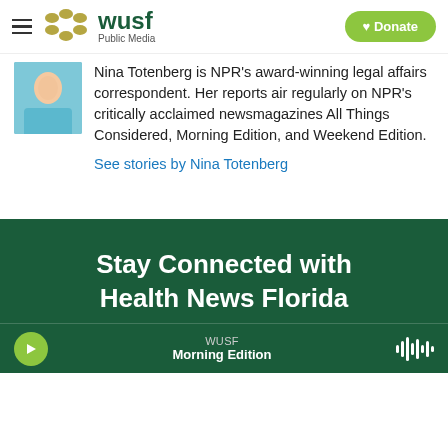WUSF Public Media — Donate
[Figure (photo): Portrait photo of Nina Totenberg in teal/blue clothing]
Nina Totenberg is NPR's award-winning legal affairs correspondent. Her reports air regularly on NPR's critically acclaimed newsmagazines All Things Considered, Morning Edition, and Weekend Edition.
See stories by Nina Totenberg
Stay Connected with Health News Florida
WUSF Morning Edition